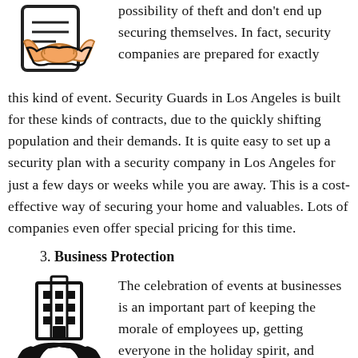[Figure (illustration): Handshake icon with a document/contract in the background, black and colorful line art style]
possibility of theft and don't end up securing themselves. In fact, security companies are prepared for exactly this kind of event. Security Guards in Los Angeles is built for these kinds of contracts, due to the quickly shifting population and their demands. It is quite easy to set up a security plan with a security company in Los Angeles for just a few days or weeks while you are away. This is a cost-effective way of securing your home and valuables. Lots of companies even offer special pricing for this time.
3. Business Protection
[Figure (illustration): Two hands holding up a building/office complex icon, black silhouette style]
The celebration of events at businesses is an important part of keeping the morale of employees up, getting everyone in the holiday spirit, and generally keeping them happy.